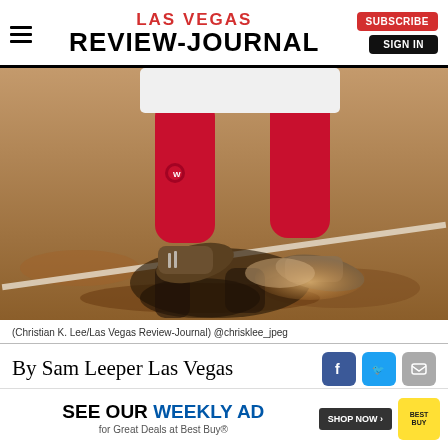LAS VEGAS REVIEW-JOURNAL
[Figure (photo): Close-up of a softball/baseball player's legs in red socks and cleats rounding a base on a dirt field, kicking up dust with a shadow visible below.]
(Christian K. Lee/Las Vegas Review-Journal) @chrisklee_jpeg
By Sam Leeper Las Vegas
[Figure (infographic): Best Buy advertisement banner: 'SEE OUR WEEKLY AD for Great Deals at Best Buy® SHOP NOW' with Best Buy logo.]